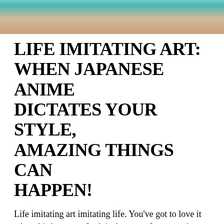[Figure (photo): Photo of a person with teal/green hair, face tilted upward, cropped at top of page.]
LIFE IMITATING ART: WHEN JAPANESE ANIME DICTATES YOUR STYLE, AMAZING THINGS CAN HAPPEN!
Life imitating art imitating life. You’ve got to love it when this happens. Such is the case of some make-up…
#anime, #fashion, #japanese pop culture, #makeup,
[Figure (photo): Partially visible photo at bottom of page, dark left side with a figure partially visible.]